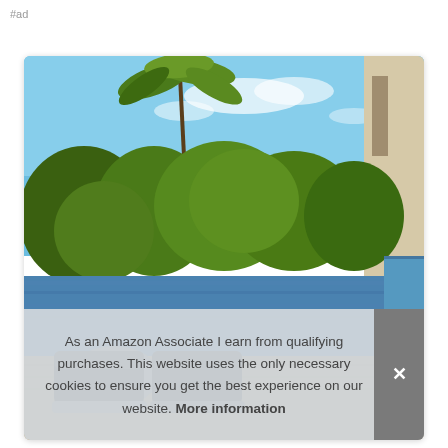#ad
[Figure (photo): Luxury resort infinity pool surrounded by tropical palm trees and lush green vegetation under a bright blue sky, with dark wicker outdoor sofa seating in the foreground and a modern beige building on the right edge.]
As an Amazon Associate I earn from qualifying purchases. This website uses the only necessary cookies to ensure you get the best experience on our website. More information